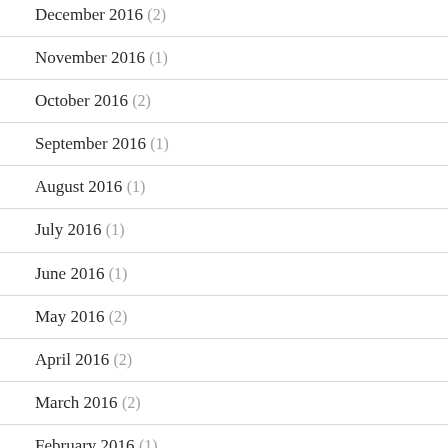December 2016 (2)
November 2016 (1)
October 2016 (2)
September 2016 (1)
August 2016 (1)
July 2016 (1)
June 2016 (1)
May 2016 (2)
April 2016 (2)
March 2016 (2)
February 2016 (1)
January 2016 (1)
December 2015 (2)